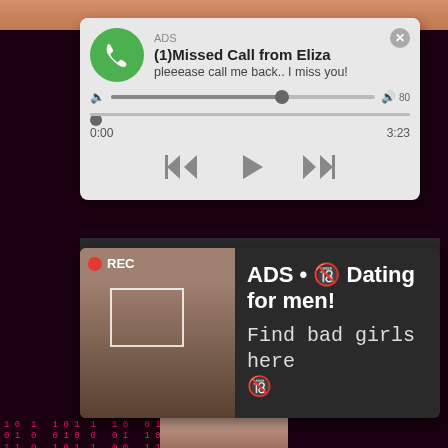[Figure (screenshot): Fake missed call audio ad notification with phone icon, text '(1)Missed Call from Eliza', subtitle 'pleeease call me back.. I miss you!', seek bar, time 0:00 to 3:23, and playback controls]
[Figure (screenshot): Dating advertisement card with woman taking selfie, REC indicator, text 'ADS • Dating for men! Find bad girls here']
[Figure (photo): Background matrix-style binary code in pink/red on dark background with figure in center]